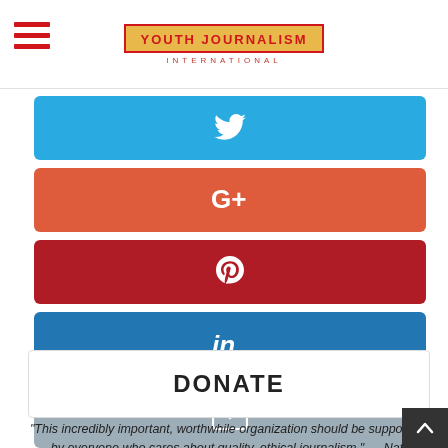Youth Journalism International
[Figure (infographic): Social share buttons: Twitter (blue), Google+ (orange-red), Pinterest (dark red), LinkedIn (blue), Email (gray)]
DONATE
“This incredibly important, worthwhile organization should be supported by everyone who cares about quality, ethical journalism.” — Nat Hentoff, First Amendment expert, 2016